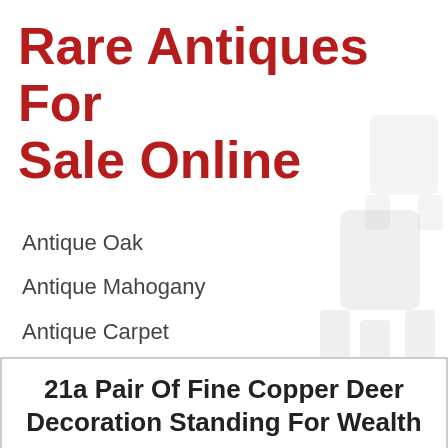Rare Antiques For Sale Online
Antique Oak
Antique Mahogany
Antique Carpet
Antique Painting
Antique Glass
Antique Plate
21a Pair Of Fine Copper Deer Decoration Standing For Wealth